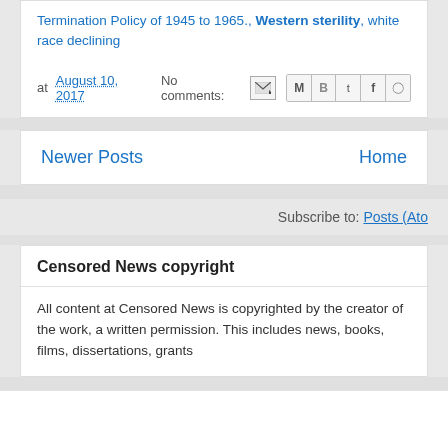Termination Policy of 1945 to 1965., Western sterility, white race declining
at August 10, 2017   No comments:
Newer Posts   Home
Subscribe to: Posts (Atom)
Censored News copyright
All content at Censored News is copyrighted by the creator of the work, a written permission. This includes news, books, films, dissertations, grants
Copyright Brenda Norrell, Censored News br